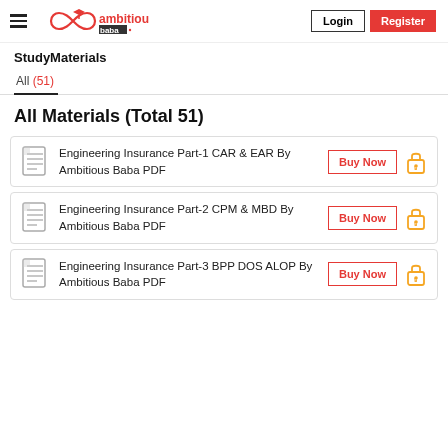ambitious baba | Login | Register
StudyMaterials
All (51)
All Materials (Total 51)
Engineering Insurance Part-1 CAR & EAR By Ambitious Baba PDF | Buy Now
Engineering Insurance Part-2 CPM & MBD By Ambitious Baba PDF | Buy Now
Engineering Insurance Part-3 BPP DOS ALOP By Ambitious Baba PDF | Buy Now